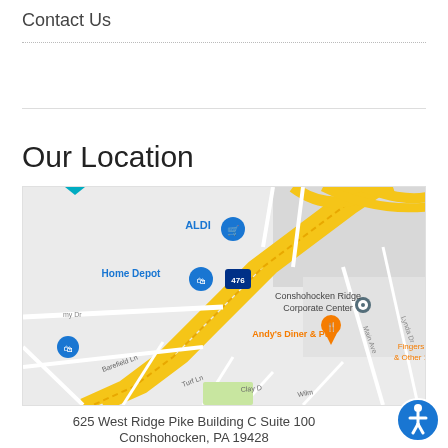Contact Us
Our Location
[Figure (map): Google Maps screenshot showing Conshohocken Ridge Corporate Center area, with ALDI, Home Depot, Andy's Diner & Pub visible, and highway I-476 interchange. Yellow roads indicate major highways.]
625 West Ridge Pike Building C Suite 100
Conshohocken, PA 19428